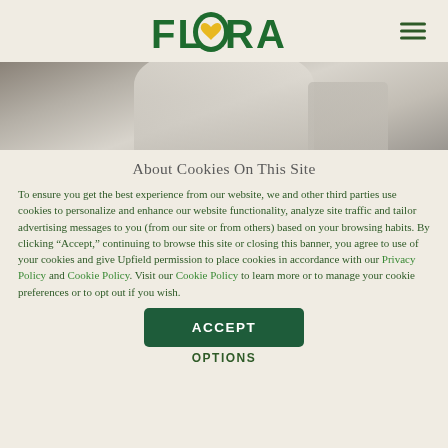FLORA
[Figure (photo): Close-up photo of a person wearing white clothing, partial body view, muted gray-beige tones]
About Cookies On This Site
To ensure you get the best experience from our website, we and other third parties use cookies to personalize and enhance our website functionality, analyze site traffic and tailor advertising messages to you (from our site or from others) based on your browsing habits. By clicking “Accept,” continuing to browse this site or closing this banner, you agree to use of your cookies and give Upfield permission to place cookies in accordance with our Privacy Policy and Cookie Policy. Visit our Cookie Policy to learn more or to manage your cookie preferences or to opt out if you wish.
ACCEPT
OPTIONS